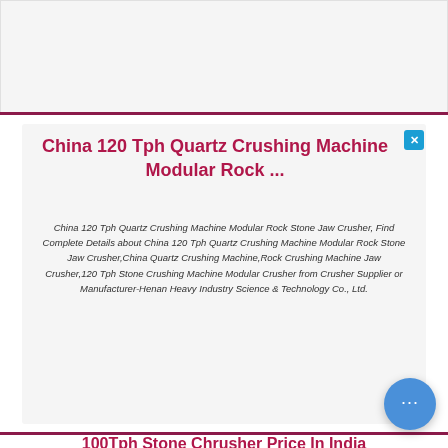[Figure (other): Gray placeholder box at top of page]
China 120 Tph Quartz Crushing Machine Modular Rock ...
China 120 Tph Quartz Crushing Machine Modular Rock Stone Jaw Crusher, Find Complete Details about China 120 Tph Quartz Crushing Machine Modular Rock Stone Jaw Crusher,China Quartz Crushing Machine,Rock Crushing Machine Jaw Crusher,120 Tph Stone Crushing Machine Modular Crusher from Crusher Supplier or Manufacturer-Henan Heavy Industry Science & Technology Co., Ltd.
100Tph Stone Chrusher Price In India